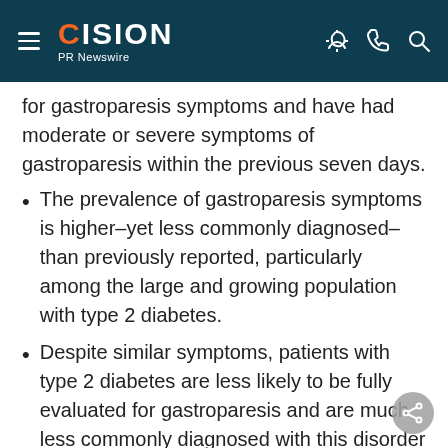CISION PR Newswire
for gastroparesis symptoms and have had moderate or severe symptoms of gastroparesis within the previous seven days.
The prevalence of gastroparesis symptoms is higher–yet less commonly diagnosed–than previously reported, particularly among the large and growing population with type 2 diabetes.
Despite similar symptoms, patients with type 2 diabetes are less likely to be fully evaluated for gastroparesis and are much less commonly diagnosed with this disorder than are patients with type 1 diabetes.